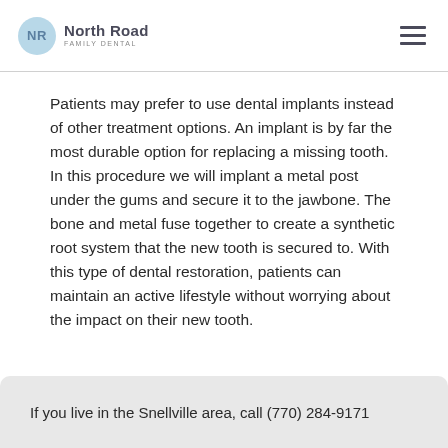North Road Family Dental
Patients may prefer to use dental implants instead of other treatment options. An implant is by far the most durable option for replacing a missing tooth. In this procedure we will implant a metal post under the gums and secure it to the jawbone. The bone and metal fuse together to create a synthetic root system that the new tooth is secured to. With this type of dental restoration, patients can maintain an active lifestyle without worrying about the impact on their new tooth.
If you live in the Snellville area, call (770) 284-9171